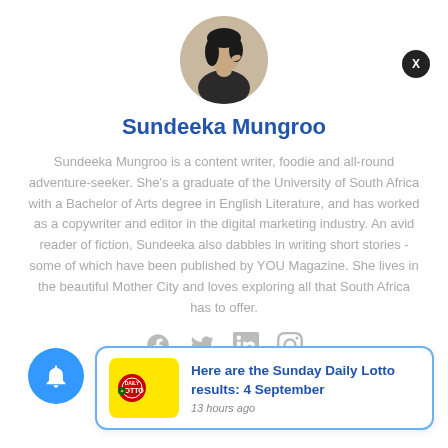[Figure (photo): Circular avatar photo of Sundeeka Mungroo, a woman with dark hair]
Sundeeka Mungroo
Sundeeka Mungroo is a content writer, foodie and all-round adventure-seeker. She's a graduate of the University of South Africa with a Bachelor of Arts degree in English Literature, and has worked as a copywriter and editor in the digital marketing industry. An avid reader of fiction, Sundeeka also dabbles in writing short stories - some of which have been published by YOU Magazine. She lives in the beautiful Mother City and loves exploring all that South Africa has to offer.
[Figure (infographic): Social media icons: Facebook, Twitter, LinkedIn, Instagram]
Here are the Sunday Daily Lotto results: 4 September
13 hours ago